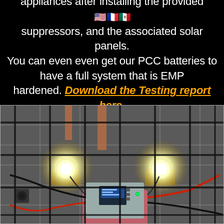appliances after installing the provided 🇺🇸🇫🇷🇲🇽 suppressors, and the associated solar panels. You can even even get our PCC batteries to have a full system that is EMP hardened. Download the Testing report here.
[Figure (photo): Photograph taken from above through a metal cage/grid showing an inverter or battery unit (gray box with blue LCD display and green LED indicator) connected to red and black cables, with two illuminated light bulbs on wooden blocks on a tiled floor, demonstrating EMP hardened solar power system in operation.]